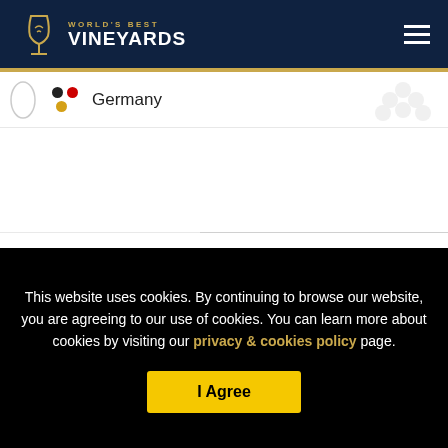World's Best Vineyards
Germany
This website uses cookies. By continuing to browse our website, you are agreeing to our use of cookies. You can learn more about cookies by visiting our privacy & cookies policy page.
I Agree